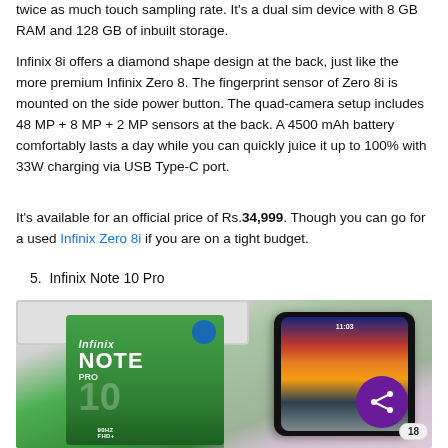twice as much touch sampling rate. It's a dual sim device with 8 GB RAM and 128 GB of inbuilt storage.
Infinix 8i offers a diamond shape design at the back, just like the more premium Infinix Zero 8. The fingerprint sensor of Zero 8i is mounted on the side power button. The quad-camera setup includes 48 MP + 8 MP + 2 MP sensors at the back. A 4500 mAh battery comfortably lasts a day while you can quickly juice it up to 100% with 33W charging via USB Type-C port.
It's available for an official price of Rs.34,999. Though you can go for a used Infinix Zero 8i if you are on a tight budget.
5.  Infinix Note 10 Pro
[Figure (photo): Photo of Infinix Note 10 Pro smartphone alongside its green retail box, placed on a pink/white surface with a laptop partially visible. A purple share button with 18 count is overlaid at bottom right.]